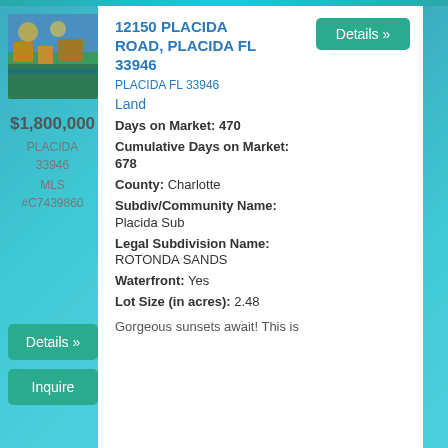[Figure (photo): Aerial or waterfront property photo with boats and greenery]
$1,800,000
PLACIDA
33946
MLS #C7439860
Details »
Inquire
12150 PLACIDA ROAD, PLACIDA FL 33946
Details »
PLACIDA FL 33946
Land
Days on Market: 470
Cumulative Days on Market: 678
County: Charlotte
Subdiv/Community Name: Placida Sub
Legal Subdivision Name: ROTONDA SANDS
Waterfront: Yes
Lot Size (in acres): 2.48
Gorgeous sunsets await! This is